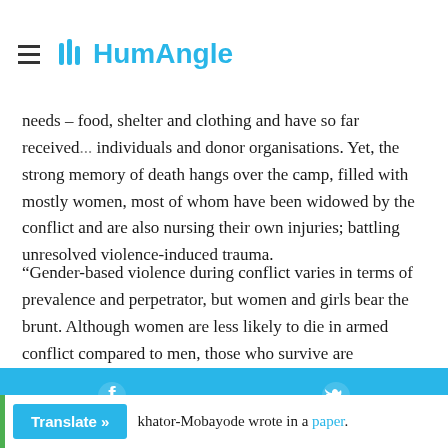HumAngle
needs – food, shelter and clothing and have so far received... individuals and donor organisations. Yet, the strong memory of death hangs over the camp, filled with mostly women, most of whom have been widowed by the conflict and are also nursing their own injuries; battling unresolved violence-induced trauma.
“Gender-based violence during conflict varies in terms of prevalence and perpetrator, but women and girls bear the brunt. Although women are less likely to die in armed conflict compared to men, those who survive are vulnerable in other ways. In addition to the existing hardships they face during peacetime, during conflict women can experience
[Figure (other): Social share bar with Facebook and Twitter icons on blue background]
n... khator-Mobayode wrote in a paper.